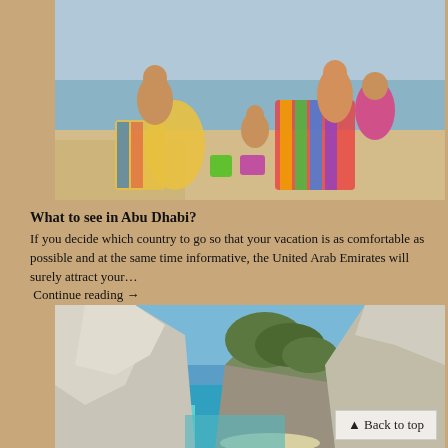[Figure (photo): Family sitting on a sandy beach with colorful towels and buckets, sea in background]
What to see in Abu Dhabi?
If you decide which country to go so that your vacation is as comfortable as possible and at the same time informative, the United Arab Emirates will surely attract your…
 Continue reading →
[Figure (photo): Scenic coastal landscape with tall white cliffs, green hills, and turquoise water — Navagio beach, Greece]
▲ Back to top